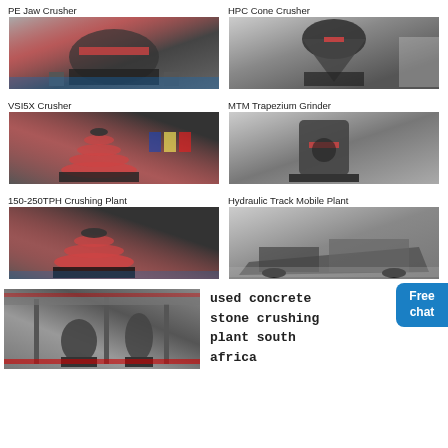PE Jaw Crusher
[Figure (photo): PE Jaw Crusher industrial machine in factory]
HPC Cone Crusher
[Figure (photo): HPC Cone Crusher industrial machine in factory]
VSI5X Crusher
[Figure (photo): VSI5X Crusher industrial machine in factory]
MTM Trapezium Grinder
[Figure (photo): MTM Trapezium Grinder industrial machine in factory]
150-250TPH Crushing Plant
[Figure (photo): 150-250TPH Crushing Plant in industrial facility]
Hydraulic Track Mobile Plant
[Figure (photo): Hydraulic Track Mobile Plant in industrial facility]
[Figure (photo): Industrial crushing machine in factory with red banners]
used concrete stone crushing plant south africa